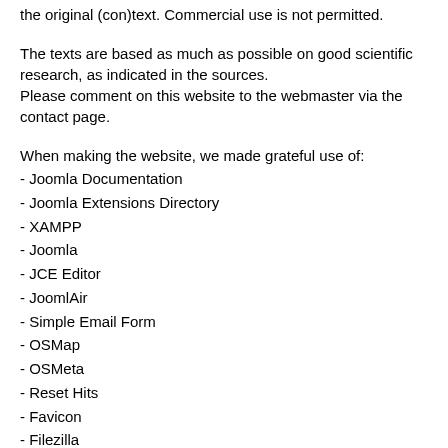the original (con)text. Commercial use is not permitted.
The texts are based as much as possible on good scientific research, as indicated in the sources.
Please comment on this website to the webmaster via the contact page.
When making the website, we made grateful use of:
- Joomla Documentation
- Joomla Extensions Directory
- XAMPP
- Joomla
- JCE Editor
- JoomlAir
- Simple Email Form
- OSMap
- OSMeta
- Reset Hits
- Favicon
- Filezilla